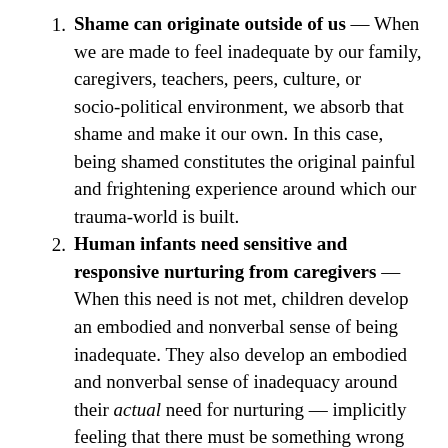Shame can originate outside of us — When we are made to feel inadequate by our family, caregivers, teachers, peers, culture, or socio-political environment, we absorb that shame and make it our own. In this case, being shamed constitutes the original painful and frightening experience around which our trauma-world is built.
Human infants need sensitive and responsive nurturing from caregivers — When this need is not met, children develop an embodied and nonverbal sense of being inadequate. They also develop an embodied and nonverbal sense of inadequacy around their actual need for nurturing — implicitly feeling that there must be something wrong